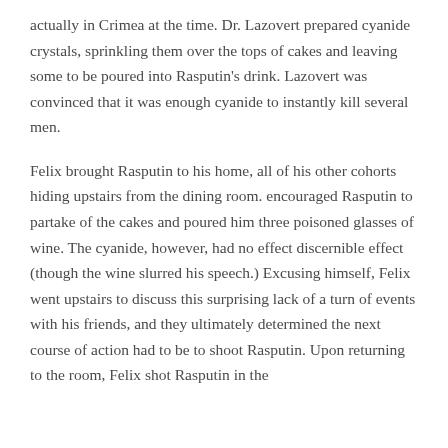actually in Crimea at the time. Dr. Lazovert prepared cyanide crystals, sprinkling them over the tops of cakes and leaving some to be poured into Rasputin's drink. Lazovert was convinced that it was enough cyanide to instantly kill several men.
Felix brought Rasputin to his home, all of his other cohorts hiding upstairs from the dining room. encouraged Rasputin to partake of the cakes and poured him three poisoned glasses of wine. The cyanide, however, had no effect discernible effect (though the wine slurred his speech.) Excusing himself, Felix went upstairs to discuss this surprising lack of a turn of events with his friends, and they ultimately determined the next course of action had to be to shoot Rasputin. Upon returning to the room, Felix shot Rasputin in the